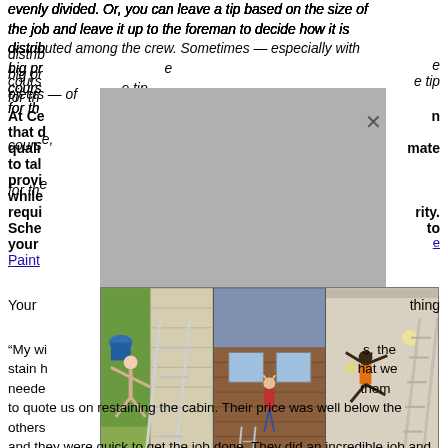evenly divided. Or, you can leave a tip based on the size of the job and leave it up to the foreman to decide how it is distributed among the crew. Sometimes — especially with big projects — of course, the tip for the…
At Ce… that… quality… estimate to tal… provide… while… requires… rity. Schedule… to your… Painting…
[Figure (photo): Three photos of people in precarious ladder situations — left: person falling off ladder against house siding, center: person hanging from window on brick building, right: person doing acrobatics over ladder indoors. A gray popup/modal overlay partially covers the text.]
Your… thing
"My wi… s, the stain h… hat we neede… them to quote us on restaining the cabin. Their price was well below the others and they were quick to get the job done. They did an incredible job and the cabin looks great." - Robert M. Denver House Painting